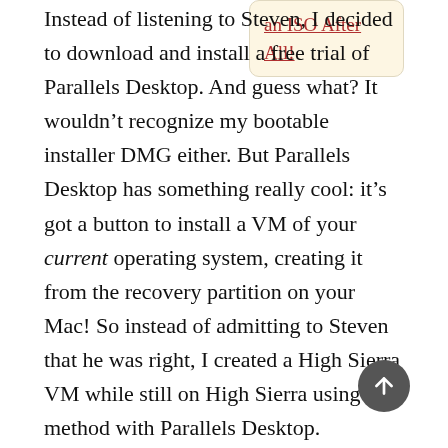Instead of listening to Steven, I decided to download and install a free trial of Parallels Desktop. And guess what? It wouldn't recognize my bootable installer DMG either. But Parallels Desktop has something really cool: it's got a button to install a VM of your current operating system, creating it from the recovery partition on your Mac! So instead of admitting to Steven that he was right, I created a High Sierra VM while still on High Sierra using that method with Parallels Desktop.
an ISO After All!
Once I had that up and running, I was ready to upgrade my 2013 Mac to Mojave. To play in the public beta program with Apple, you have to register your